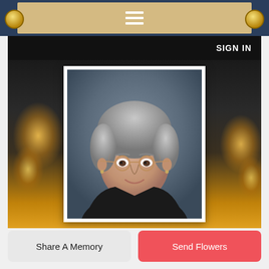☰ (hamburger menu icon)
SIGN IN
[Figure (photo): Portrait photo of an elderly woman with gray curly hair, wearing glasses and a dark jacket, smiling. Photo is shown in a white-bordered frame against a candlelit bokeh background.]
Share A Memory
Send Flowers